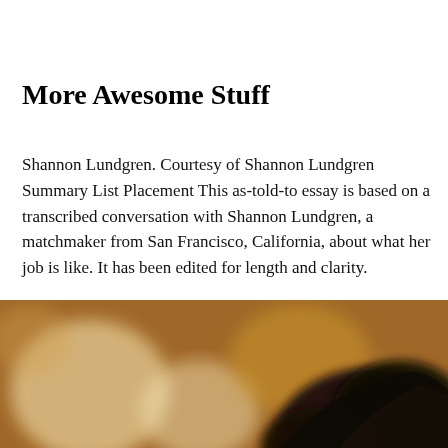More Awesome Stuff
Shannon Lundgren. Courtesy of Shannon Lundgren Summary List Placement This as-told-to essay is based on a transcribed conversation with Shannon Lundgren, a matchmaker from San Francisco, California, about what her job is like. It has been edited for length and clarity.
[Figure (photo): A blurred photo of a woman with dark hair against a warm bokeh background with brownish-orange tones.]